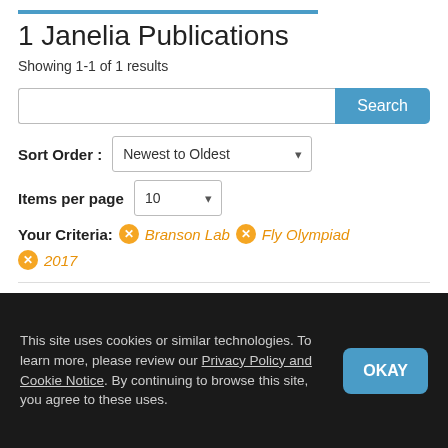1 Janelia Publications
Showing 1-1 of 1 results
Search [search box with Search button]
Sort Order : Newest to Oldest
Items per page  10
Your Criteria:  ✕ Branson Lab  ✕ Fly Olympiad  ✕ 2017
CARD LAB  RUBIN LAB  REISER LAB  BRANSON LAB  FLY OLYMPIAD
This site uses cookies or similar technologies. To learn more, please review our Privacy Policy and Cookie Notice. By continuing to browse this site, you agree to these uses.